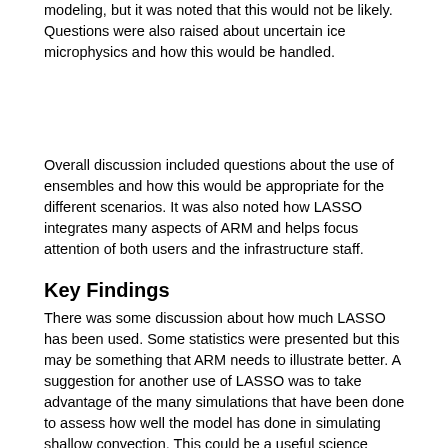modeling, but it was noted that this would not be likely. Questions were also raised about uncertain ice microphysics and how this would be handled.
Overall discussion included questions about the use of ensembles and how this would be appropriate for the different scenarios. It was also noted how LASSO integrates many aspects of ARM and helps focus attention of both users and the infrastructure staff.
Key Findings
There was some discussion about how much LASSO has been used. Some statistics were presented but this may be something that ARM needs to illustrate better. A suggestion for another use of LASSO was to take advantage of the many simulations that have been done to assess how well the model has done in simulating shallow convection. This could be a useful science paper.